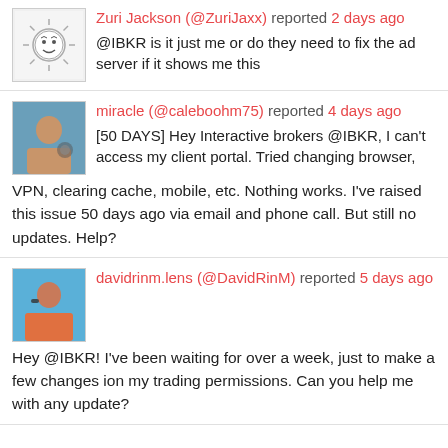Zuri Jackson (@ZuriJaxx) reported 2 days ago
@IBKR is it just me or do they need to fix the ad server if it shows me this
miracle (@caleboohm75) reported 4 days ago
[50 DAYS] Hey Interactive brokers @IBKR, I can't access my client portal. Tried changing browser, VPN, clearing cache, mobile, etc. Nothing works. I've raised this issue 50 days ago via email and phone call. But still no updates. Help?
davidrinm.lens (@DavidRinM) reported 5 days ago
Hey @IBKR! I've been waiting for over a week, just to make a few changes ion my trading permissions. Can you help me with any update?